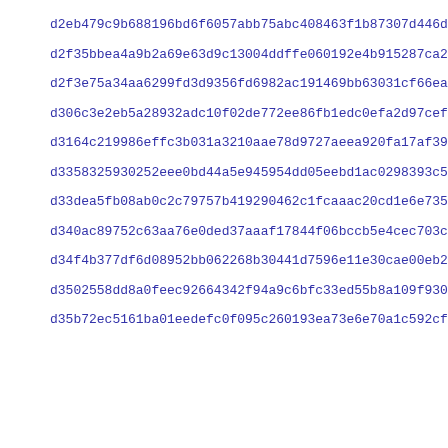d2eb479c9b688196bd6f6057abb75abc408463f1b87307d446d421da652b2
d2f35bbea4a9b2a69e63d9c13004ddffe060192e4b915287ca263e8ffb482
d2f3e75a34aa6299fd3d9356fd6982ac191469bb63031cf66eaefa17aeb4d
d306c3e2eb5a28932adc10f02de772ee86fb1edc0efa2d97cefcd77ba51a7
d3164c219986effc3b031a3210aae78d9727aeea920fa17af39afcf919717
d3358325930252eee0bd44a5e945954dd05eebd1ac0298393c5efb3142114
d33dea5fb08ab0c2c79757b419290462c1fcaaac20cd1e6e735a437314e4b
d340ac89752c63aa76e0ded37aaaf17844f06bccb5e4cec703c04389d1b43
d34f4b377df6d08952bb062268b30441d7596e11e30cae00eb21efc1fddf0
d3502558dd8a0feec92664342f94a9c6bfc33ed55b8a109f93095c2b3baab
d35b72ec5161ba01eedefc0f095c260193ea73e6e70a1c592cf37e0216087